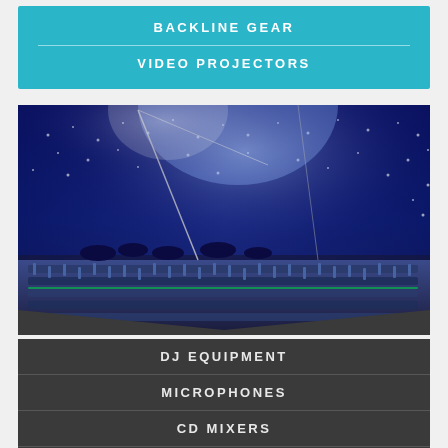BACKLINE GEAR
VIDEO PROJECTORS
[Figure (photo): Concert stage with blue/purple stage lighting, microphone stands, mixing board in foreground, musicians and audience visible in background]
DJ EQUIPMENT
MICROPHONES
CD MIXERS
LIVE SOUND